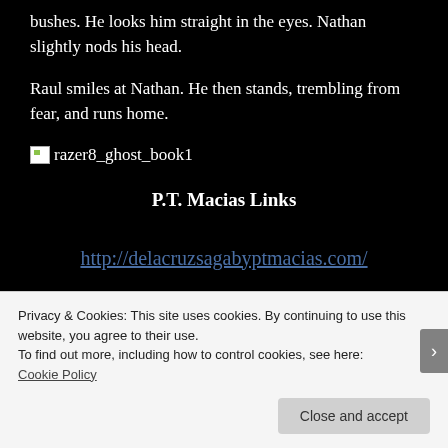bushes. He looks him straight in the eyes. Nathan slightly nods his head.
Raul smiles at Nathan. He then stands, trembling from fear, and runs home.
[Figure (other): Broken image placeholder with filename razer8_ghost_book1]
P.T. Macias Links
http://delacruzsagabyptmacias.com/
Privacy & Cookies: This site uses cookies. By continuing to use this website, you agree to their use.
To find out more, including how to control cookies, see here: Cookie Policy
Close and accept